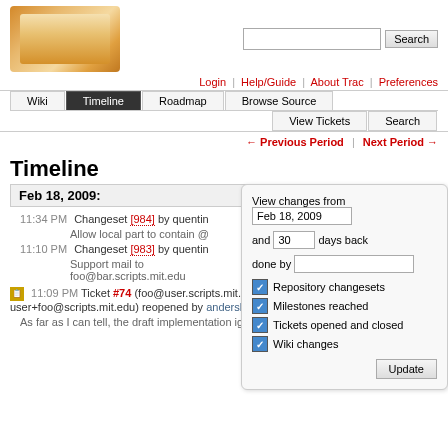[Figure (logo): Trac project logo with bread/sandwich image]
Wiki | Timeline | Roadmap | Browse Source | View Tickets | Search
Login | Help/Guide | About Trac | Preferences
← Previous Period | Next Period →
Timeline
Feb 18, 2009:
11:34 PM Changeset [984] by quentin
Allow local part to contain @
11:10 PM Changeset [983] by quentin
Support mail to foo@bar.scripts.mit.edu
View changes from Feb 18, 2009 and 30 days back done by Repository changesets Milestones reached Tickets opened and closed Wiki changes Update
11:09 PM Ticket #74 (foo@user.scripts.mit.edu should equal user+foo@scripts.mit.edu) reopened by andersk
As far as I can tell, the draft implementation ignores all the ...